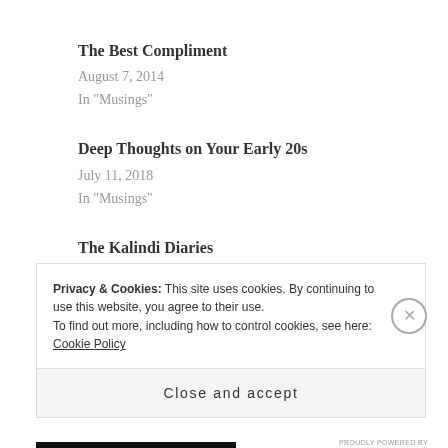The Best Compliment
August 7, 2014
In "Musings"
Deep Thoughts on Your Early 20s
July 11, 2018
In "Musings"
The Kalindi Diaries
September 13, 2017
In "Europe"
Privacy & Cookies: This site uses cookies. By continuing to use this website, you agree to their use.
To find out more, including how to control cookies, see here: Cookie Policy
Close and accept